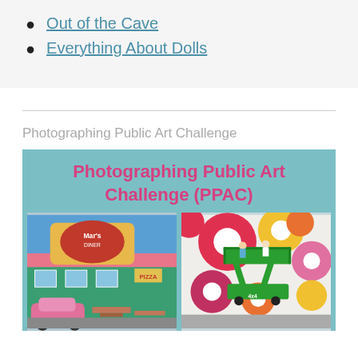Out of the Cave
Everything About Dolls
Photographing Public Art Challenge
[Figure (photo): Promotional image for 'Photographing Public Art Challenge (PPAC)' with teal background, bold pink/magenta title text, and two photos below: left photo shows a colorful pink building with a vintage diner sign and a pink car; right photo shows workers on a green scissor lift painting a large colorful floral mural on a building exterior.]